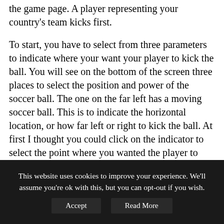the game page. A player representing your country's team kicks first.
To start, you have to select from three parameters to indicate where your want your player to kick the ball. You will see on the bottom of the screen three places to select the position and power of the soccer ball. The one on the far left has a moving soccer ball. This is to indicate the horizontal location, or how far left or right to kick the ball. At first I thought you could click on the indicator to select the point where you wanted the player to kick the ball, but actually wherever the moving soccer ball is when you click is where the ball with be kicked. This is the same for the other two parameters, the
This website uses cookies to improve your experience. We'll assume you're ok with this, but you can opt-out if you wish.